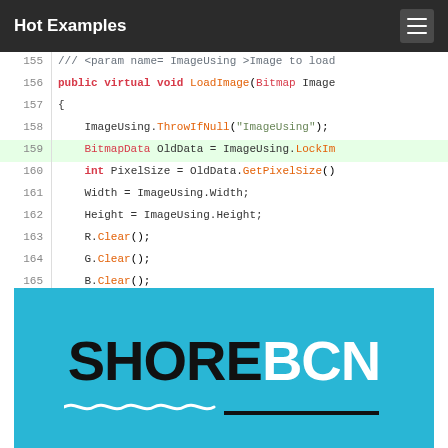Hot Examples
[Figure (screenshot): Code editor screenshot showing C# code lines 155-169 with syntax highlighting. Lines show LoadImage method implementation including ImageUsing.ThrowIfNull, BitmapData OldData = ImageUsing.LockImage, int PixelSize = OldData.GetPixelSize(), Width/Height assignments, R/G/B.Clear() calls, and for loops. Line 159 is highlighted in green.]
[Figure (logo): SHORE BCN logo on cyan/turquoise background. 'SHORE' in large black bold letters, 'BCN' in white bold letters, with wave decoration and black underline bar below.]